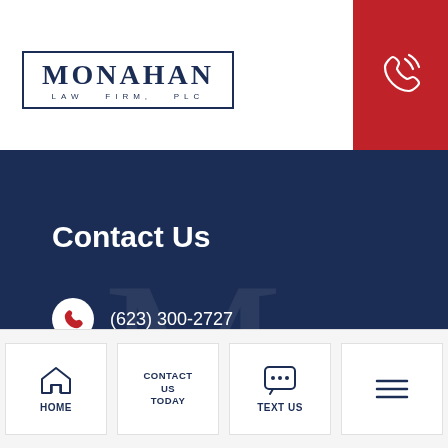[Figure (logo): Monahan Law Firm, PLC logo in navy box]
[Figure (illustration): Phone/call icon on red background button]
Contact Us
(623) 300-2727
7025 W. Bell Rd. Ste. 8
Glendale, AZ 85308
Business Hours
[Figure (infographic): Bottom navigation bar with HOME, CONTACT US TODAY, TEXT US, and hamburger menu icons]